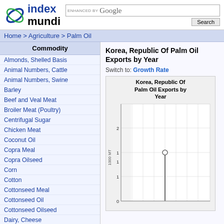index mundi — ENHANCED BY Google Search
Home > Agriculture > Palm Oil
| Commodity |
| --- |
| Almonds, Shelled Basis |
| Animal Numbers, Cattle |
| Animal Numbers, Swine |
| Barley |
| Beef and Veal Meat |
| Broiler Meat (Poultry) |
| Centrifugal Sugar |
| Chicken Meat |
| Coconut Oil |
| Copra Meal |
| Copra Oilseed |
| Corn |
| Cotton |
| Cottonseed Meal |
| Cottonseed Oil |
| Cottonseed Oilseed |
| Dairy, Cheese |
| Dairy, Milk, Fluid |
| Dairy, Milk, Nonfat Dry |
Korea, Republic Of Palm Oil Exports by Year
Switch to: Growth Rate
[Figure (line-chart): Line chart showing Korea Republic Of Palm Oil Exports by Year. Y-axis labeled 1000 MT with values from 0 to 2. A single data point is visible near y=1 with a circle marker and a vertical line extending downward.]